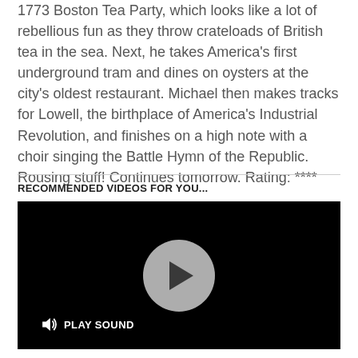1773 Boston Tea Party, which looks like a lot of rebellious fun as they throw crateloads of British tea in the sea. Next, he takes America's first underground tram and dines on oysters at the city's oldest restaurant. Michael then makes tracks for Lowell, the birthplace of America's Industrial Revolution, and finishes on a high note with a choir singing the Battle Hymn of the Republic. Rousing stuff! Continues tomorrow. Rating: ****
RECOMMENDED VIDEOS FOR YOU...
[Figure (other): Video player with black background, a grey circular play button in the center, and a 'PLAY SOUND' button with speaker icon in the bottom left corner.]